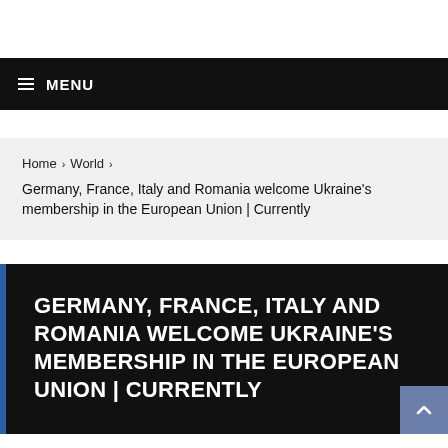≡ MENU
Home › World › Germany, France, Italy and Romania welcome Ukraine's membership in the European Union | Currently
GERMANY, FRANCE, ITALY AND ROMANIA WELCOME UKRAINE'S MEMBERSHIP IN THE EUROPEAN UNION | CURRENTLY